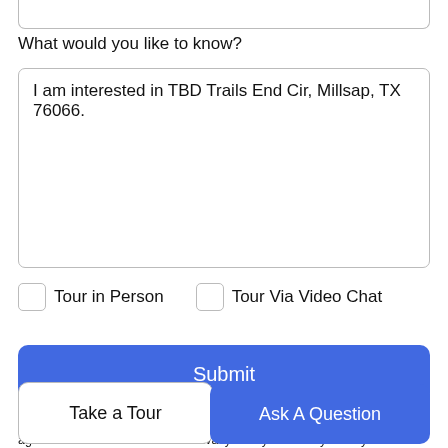What would you like to know?
I am interested in TBD Trails End Cir, Millsap, TX 76066.
Tour in Person
Tour Via Video Chat
Submit
Disclaimer: By entering your information and submitting this form, you agree to our Terms of Use and Privacy Policy and that you may be contacted by phone, text message and email about your inquiry.
Take a Tour
Ask A Question